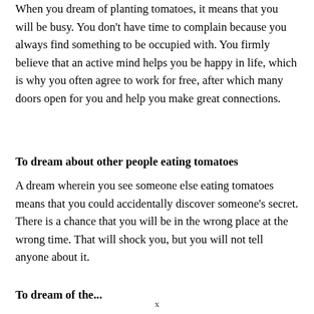When you dream of planting tomatoes, it means that you will be busy. You don't have time to complain because you always find something to be occupied with. You firmly believe that an active mind helps you be happy in life, which is why you often agree to work for free, after which many doors open for you and help you make great connections.
To dream about other people eating tomatoes
A dream wherein you see someone else eating tomatoes means that you could accidentally discover someone's secret. There is a chance that you will be in the wrong place at the wrong time. That will shock you, but you will not tell anyone about it.
To dream of the...
x